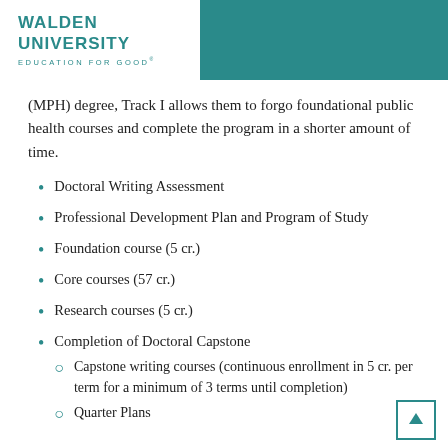WALDEN UNIVERSITY — EDUCATION FOR GOOD
(MPH) degree, Track I allows them to forgo foundational public health courses and complete the program in a shorter amount of time.
Doctoral Writing Assessment
Professional Development Plan and Program of Study
Foundation course (5 cr.)
Core courses (57 cr.)
Research courses (5 cr.)
Completion of Doctoral Capstone
Capstone writing courses (continuous enrollment in 5 cr. per term for a minimum of 3 terms until completion)
Quarter Plans